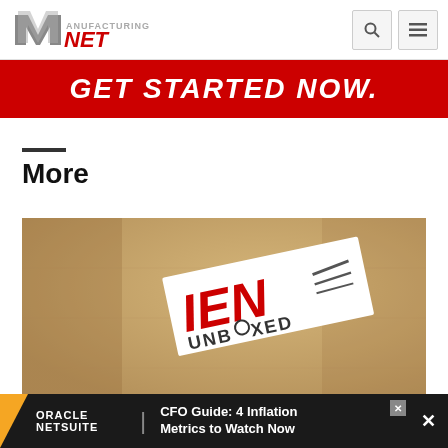Manufacturing.net header with logo and navigation icons
[Figure (illustration): GET STARTED NOW. red banner advertisement]
More
[Figure (photo): Brown cardboard box with IEN Unboxed label sticker on it]
[Figure (illustration): Oracle NetSuite advertisement: CFO Guide: 4 Inflation Metrics to Watch Now]